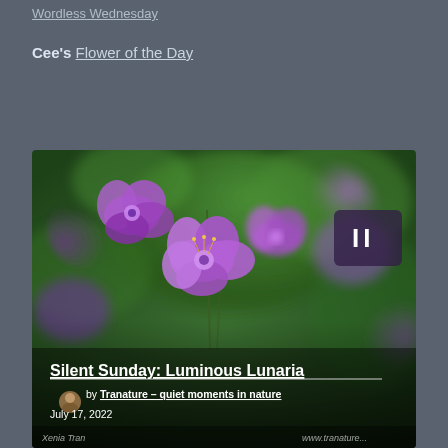Wordless Wednesday
Cee's Flower of the Day
[Figure (photo): Close-up photograph of purple Lunaria flowers with green bokeh background. A pause button icon (II) appears in the upper right of the image. Overlaid text at the bottom reads 'Silent Sunday: Luminous Lunaria' with author 'Tranature – quiet moments in nature', date 'July 17, 2022', and watermarks 'Xenia Tran' and 'www.tranature...' at the very bottom.]